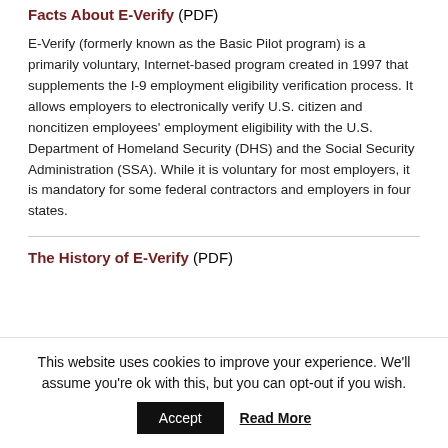Facts About E-Verify (PDF)
E-Verify (formerly known as the Basic Pilot program) is a primarily voluntary, Internet-based program created in 1997 that supplements the I-9 employment eligibility verification process. It allows employers to electronically verify U.S. citizen and noncitizen employees' employment eligibility with the U.S. Department of Homeland Security (DHS) and the Social Security Administration (SSA). While it is voluntary for most employers, it is mandatory for some federal contractors and employers in four states.
The History of E-Verify (PDF)
This website uses cookies to improve your experience. We'll assume you're ok with this, but you can opt-out if you wish.